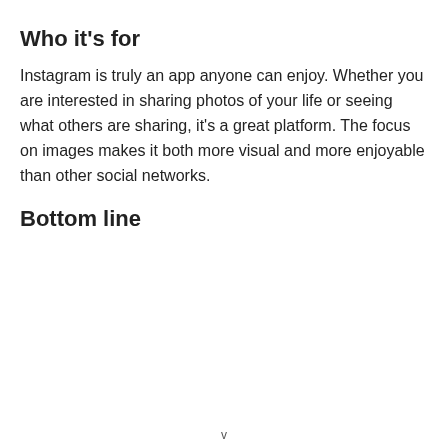Who it’s for
Instagram is truly an app anyone can enjoy. Whether you are interested in sharing photos of your life or seeing what others are sharing, it's a great platform. The focus on images makes it both more visual and more enjoyable than other social networks.
Bottom line
v